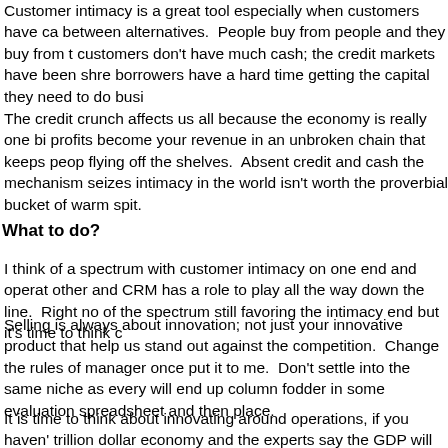Customer intimacy is a great tool especially when customers have ca between alternatives. People buy from people and they buy from t customers don't have much cash; the credit markets have been shre borrowers have a hard time getting the capital they need to do busi
The credit crunch affects us all because the economy is really one bi profits become your revenue in an unbroken chain that keeps peop flying off the shelves. Absent credit and cash the mechanism seizes intimacy in the world isn't worth the proverbial bucket of warm spit.
What to do?
I think of a spectrum with customer intimacy on one end and opera other and CRM has a role to play all the way down the line. Right no of the spectrum still favoring the intimacy end but it's time to think c
Selling is always about innovation; not just your innovative product that help us stand out against the competition. Change the rules of manager once put it to me. Don't settle into the same niche as every will end up column fodder in some evaluation spreadsheet and then place.
It is time to think about innovating around operations, if you haven' trillion dollar economy and the experts say the GDP will shrink by